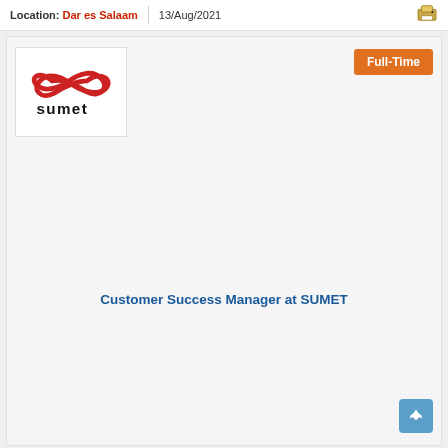Location: Dar es Salaam | 13/Aug/2021
[Figure (logo): Sumet company logo — red infinity-like swirl above the word 'sumet' in black]
Full-Time
Customer Success Manager at SUMET